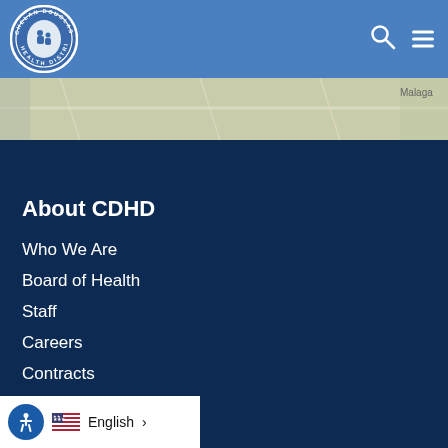[Figure (logo): Chelan-Douglas Health District circular logo with white border, blue background, map of region with figures]
[Figure (map): Partial map strip showing terrain, with 'Malaga' label on the right side]
About CDHD
Who We Are
Board of Health
Staff
Careers
Contracts
North Central ACH
[Figure (screenshot): Accessibility icon (person in circle) and language selector showing US flag, 'English' text, and right arrow chevron]